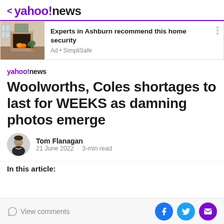< yahoo!news
[Figure (photo): Advertisement image showing a living room with fireplace. Ad title: Experts in Ashburn recommend this home security. Ad source: Ad · SimpliSafe]
[Figure (logo): yahoo!news small logo]
Woolworths, Coles shortages to last for WEEKS as damning photos emerge
Tom Flanagan · 21 June 2022 · 3-min read
In this article:
View comments | Share on Facebook | Share on Twitter | Share via email